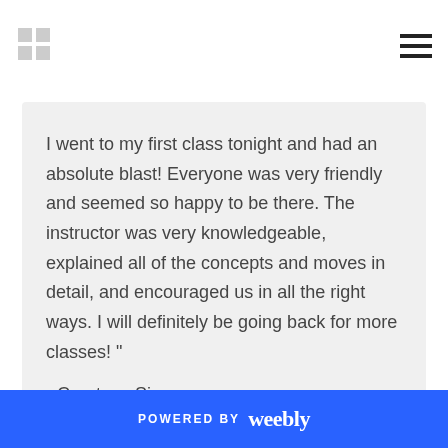I went to my first class tonight and had an absolute blast! Everyone was very friendly and seemed so happy to be there. The instructor was very knowledgeable, explained all of the concepts and moves in detail, and encouraged us in all the right ways. I will definitely be going back for more classes! "
- Courtney Simmons
POWERED BY weebly